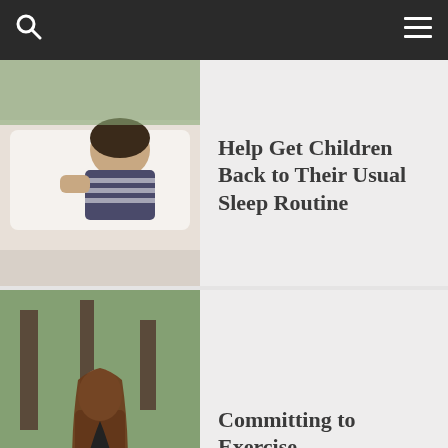Navigation bar with search and menu icons
Help Get Children Back to Their Usual Sleep Routine
[Figure (photo): Child sleeping in bed with striped pajamas, white pillow]
Committing to Exercise
[Figure (photo): Woman in black athletic wear holding a colorful backpack on a path in the woods]
Tips For Getting Back To Work After
[Figure (photo): Laptop and colorful tulips on a white surface]